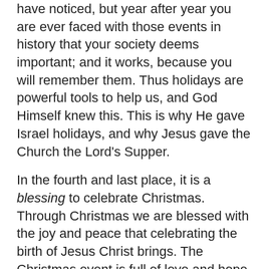have noticed, but year after year you are ever faced with those events in history that your society deems important; and it works, because you will remember them. Thus holidays are powerful tools to help us, and God Himself knew this. This is why He gave Israel holidays, and why Jesus gave the Church the Lord's Supper.
In the fourth and last place, it is a blessing to celebrate Christmas. Through Christmas we are blessed with the joy and peace that celebrating the birth of Jesus Christ brings. The Christmas event is full of love and hope which has ever enriched those corners of the world that have recalled it. It is not a mystery why people feel closer to each other at Christmas time: the message of Christmas is “Peace on earth, goodwill toward men”; it is a proclamation of just how deeply God loves this dark and sinful world. Sadly, this spirit of Christmas is already fading away from our society as the message of Christmas is being replaced by Santa; but it need not among Christians. All who have truly celebrated Christmas have been so blessed, and would want others to enjoy the same. Christmas is therefore not something to be despised, but embraced, and reveled in to the fullest. Just